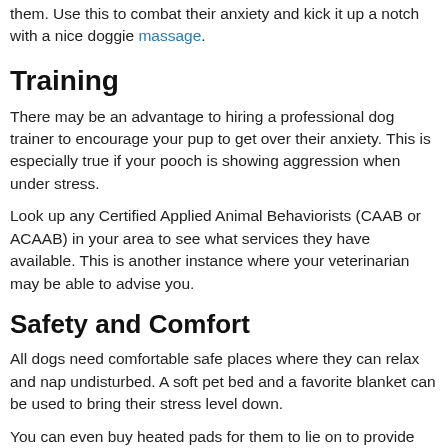them. Use this to combat their anxiety and kick it up a notch with a nice doggie massage.
Training
There may be an advantage to hiring a professional dog trainer to encourage your pup to get over their anxiety. This is especially true if your pooch is showing aggression when under stress.
Look up any Certified Applied Animal Behaviorists (CAAB or ACAAB) in your area to see what services they have available. This is another instance where your veterinarian may be able to advise you.
Safety and Comfort
All dogs need comfortable safe places where they can relax and nap undisturbed. A soft pet bed and a favorite blanket can be used to bring their stress level down.
You can even buy heated pads for them to lie on to provide more comfort. Encourage your dog with praise and the odd treat when you see them taking a break in their safe space.